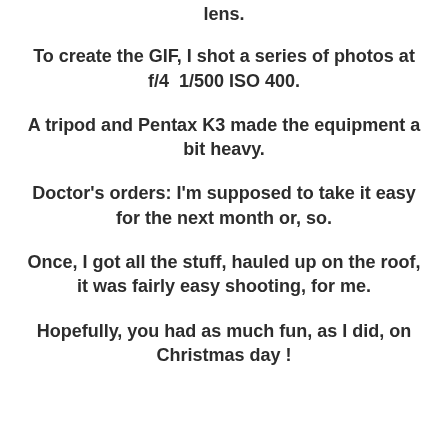lens.
To create the GIF, I shot a series of photos at f/4  1/500 ISO 400.
A tripod and Pentax K3 made the equipment a bit heavy.
Doctor's orders: I'm supposed to take it easy for the next month or, so.
Once, I got all the stuff, hauled up on the roof, it was fairly easy shooting, for me.
Hopefully, you had as much fun, as I did, on Christmas day !